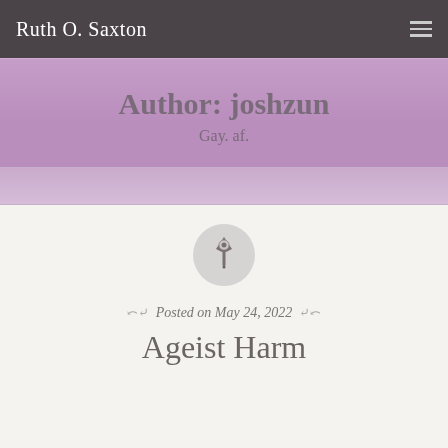Ruth O. Saxton
Author: joshzun
Gay. af.
[Figure (illustration): A pushpin icon inside a light gray circle]
Posted on May 24, 2022
Ageist Harm